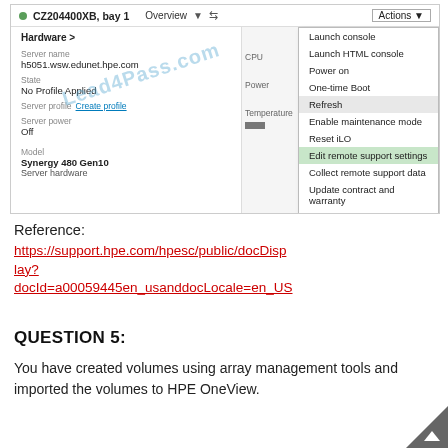[Figure (screenshot): HPE OneView server management UI screenshot showing server CZ204400XB bay 1 with Hardware details panel and Actions dropdown menu open. The dropdown shows options: Launch console, Launch HTML console, Power on, One-time Boot, Refresh (highlighted), Enable maintenance mode, Reset iLO, Edit remote support settings (highlighted in green), Collect remote support data, Update contract and warranty, Request test event. A watermark 'Lead4Pass.com' is overlaid diagonally.]
Reference:
https://support.hpe.com/hpesc/public/docDisplay?docId=a00059445en_usanddocLocale=en_US
QUESTION 5:
You have created volumes using array management tools and imported the volumes to HPE OneView.